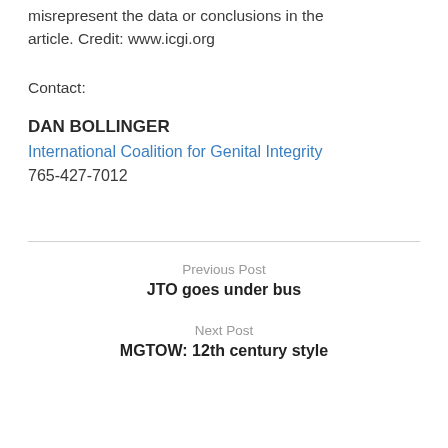misrepresent the data or conclusions in the article. Credit: www.icgi.org
Contact:
DAN BOLLINGER
International Coalition for Genital Integrity
765-427-7012
Previous Post
JTO goes under bus
Next Post
MGTOW: 12th century style